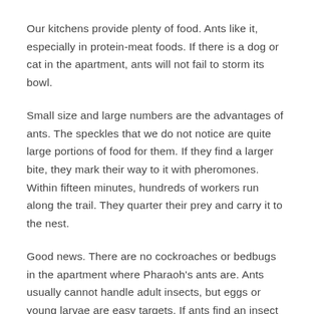Our kitchens provide plenty of food. Ants like it, especially in protein-meat foods. If there is a dog or cat in the apartment, ants will not fail to storm its bowl.
Small size and large numbers are the advantages of ants. The speckles that we do not notice are quite large portions of food for them. If they find a larger bite, they mark their way to it with pheromones. Within fifteen minutes, hundreds of workers run along the trail. They quarter their prey and carry it to the nest.
Good news. There are no cockroaches or bedbugs in the apartment where Pharaoh's ants are. Ants usually cannot handle adult insects, but eggs or young larvae are easy targets. If ants find an insect dead or too weak to defend themselves, they suspect a massive assault. After an hour or two, the insect becomes empty, chitinous skin.